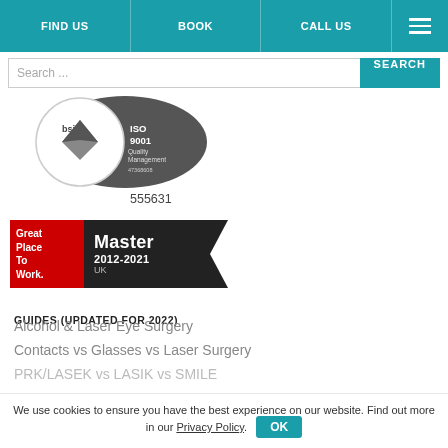FIND US | BOOK | CALL US | [menu]
Search ...
[Figure (logo): BSI ISO 9001 Quality Management certification badge, number 47368608]
555631
[Figure (logo): Great Place To Work Master 2012-2021 UK badge]
GUIDES (UPDATED FOR 2022)
Alcohol & Laser Eye Surgery
Contacts vs Glasses vs Laser Surgery
PRK/LASEK vs LASIK vs SMILE
We use cookies to ensure you have the best experience on our website. Find out more in our Privacy Policy. OK